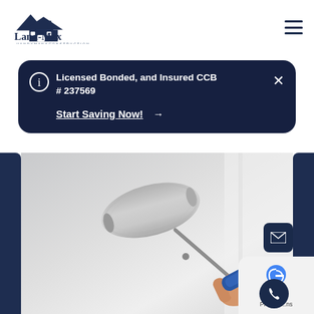[Figure (logo): Land-Max Handyman & Construction logo with house and mountains icon]
Licensed Bonded, and Insured CCB # 237569
Start Saving Now! →
[Figure (photo): Person holding a paint roller pressing it against a white wall]